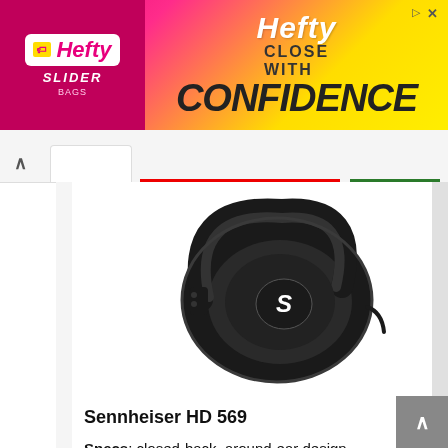[Figure (photo): Hefty Slider Bags advertisement banner with pink/yellow gradient background, Hefty logo on left, 'CLOSE WITH CONFIDENCE' text on right]
[Figure (photo): Sennheiser HD 569 over-ear headphones, black, shown from the side/front angle against white background]
Sennheiser HD 569
Specs: closed-back, around-ear design, frequency response: 14 – 26kHz, impedance: 50 ohms, sound pressure level (SPL): 108 dB (1 kHz / 1 Vrms), total harmonic distortion (THD): <0.2% (1 kHz, 100 dB)